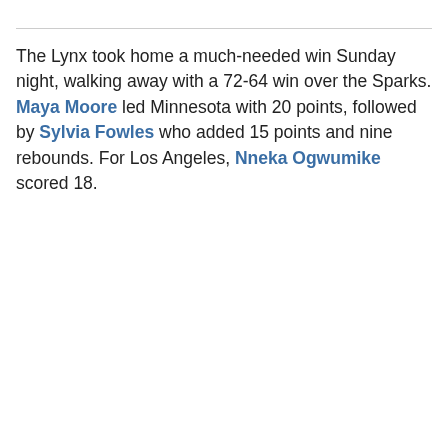The Lynx took home a much-needed win Sunday night, walking away with a 72-64 win over the Sparks. Maya Moore led Minnesota with 20 points, followed by Sylvia Fowles who added 15 points and nine rebounds. For Los Angeles, Nneka Ogwumike scored 18.